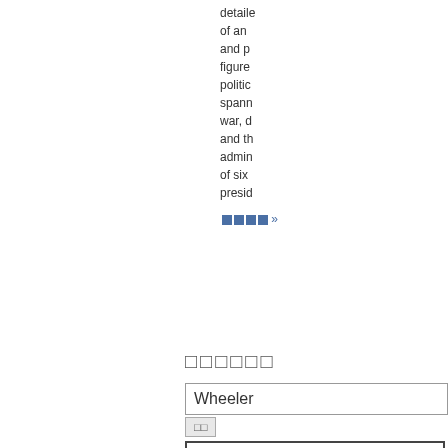detailed of an and p figure politic spann war, d and th admin of six presid
□□□□ »
□□□□□□
| Wheeler |
| --- |
| □□ |
| □ 6 □ 10 □□□□□ 65 □
□ 114 □
□□□□□□□□□□□□ |